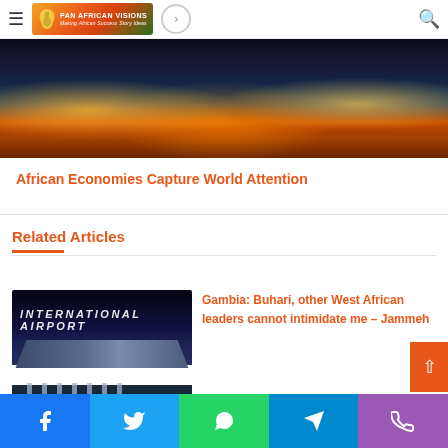Pan African Visions — Making African Success Story Ideas
[Figure (photo): Nighttime cityscape with city lights reflecting on water, orange/golden glow]
African Economies Capture World Attention
Related Articles
[Figure (photo): Banjul International Airport building at dusk/night with illuminated canopy and columns]
Gambia: Buhari, other West African leaders cannot intimidate me – Jammeh
Facebook | Twitter | WhatsApp | Telegram | Phone